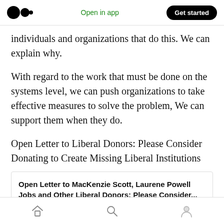Open in app   Get started
individuals and organizations that do this. We can explain why.
With regard to the work that must be done on the systems level, we can push organizations to take effective measures to solve the problem, We can support them when they do.
Open Letter to Liberal Donors: Please Consider Donating to Create Missing Liberal Institutions
Open Letter to MacKenzie Scott, Laurene Powell Jobs and Other Liberal Donors: Please Consider...
Home  Search  Profile